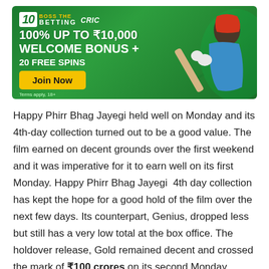[Figure (illustration): Advertisement banner for 10CRIC betting platform. Green background with a cricketer holding a bat. Text reads: 100% UP TO ₹10,000 WELCOME BONUS + 20 FREE SPINS. Yellow 'Join Now' button. Terms apply, 18+.]
Happy Phirr Bhag Jayegi held well on Monday and its 4th-day collection turned out to be a good value. The film earned on decent grounds over the first weekend and it was imperative for it to earn well on its first Monday. Happy Phirr Bhag Jayegi  4th day collection has kept the hope for a good hold of the film over the next few days. Its counterpart, Genius, dropped less but still has a very low total at the box office. The holdover release, Gold remained decent and crossed the mark of ₹100 crores on its second Monday.